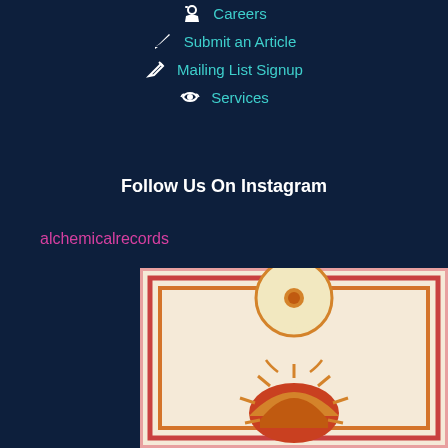Careers
Submit an Article
Mailing List Signup
Services
Follow Us On Instagram
alchemicalrecords
[Figure (illustration): Alchemical illustration featuring a circle/sun symbol at top with a radiating sun motif below, bordered by decorative colored frames in orange, red, and pink tones on a cream background.]